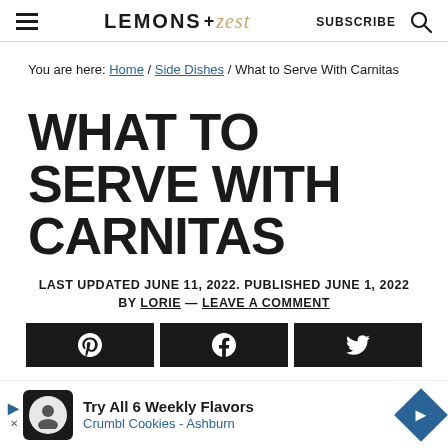LEMONS + zest | SUBSCRIBE
You are here: Home / Side Dishes / What to Serve With Carnitas
WHAT TO SERVE WITH CARNITAS
LAST UPDATED JUNE 11, 2022. PUBLISHED JUNE 1, 2022 BY LORIE — LEAVE A COMMENT
[Figure (other): Social share buttons: Pinterest, Facebook, Twitter]
[Figure (other): Ad banner: Try All 6 Weekly Flavors Crumbl Cookies - Ashburn]